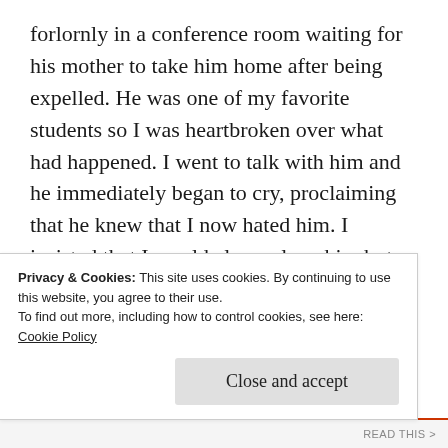forlornly in a conference room waiting for his mother to take him home after being expelled. He was one of my favorite students so I was heartbroken over what had happened. I went to talk with him and he immediately began to cry, proclaiming that he knew that I now hated him. I insisted that I would always love him but also hate what he had done. I could forgive him, but not his act of violence. He understood exactly what I meant.

When Jesus was condemned to die on the cross the people who had once celebrated him taunted and jeered
Privacy & Cookies: This site uses cookies. By continuing to use this website, you agree to their use.
To find out more, including how to control cookies, see here:
Cookie Policy

Close and accept